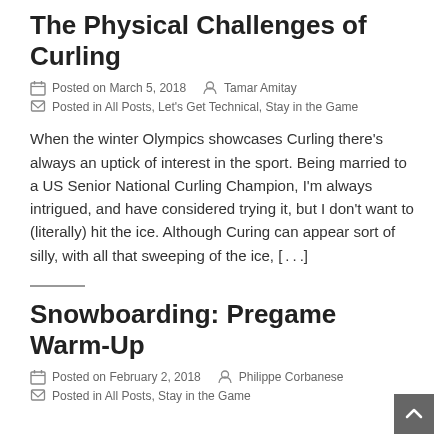The Physical Challenges of Curling
Posted on March 5, 2018   Tamar Amitay
Posted in All Posts, Let's Get Technical, Stay in the Game
When the winter Olympics showcases Curling there’s always an uptick of interest in the sport. Being married to a US Senior National Curling Champion, I’m always intrigued, and have considered trying it, but I don’t want to (literally) hit the ice. Although Curing can appear sort of silly, with all that sweeping of the ice, […]
Snowboarding: Pregame Warm-Up
Posted on February 2, 2018   Philippe Corbanese
Posted in All Posts, Stay in the Game